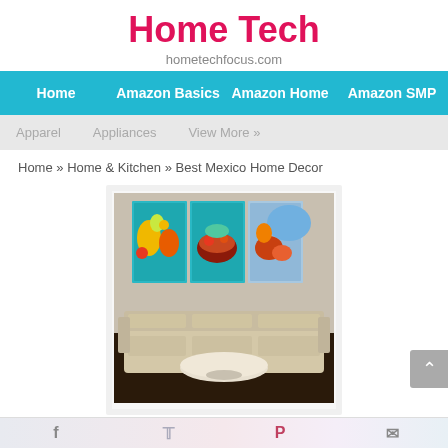Home Tech
hometechfocus.com
Home | Amazon Basics | Amazon Home | Amazon SMP
Apparel | Appliances | View More »
Home » Home & Kitchen » Best Mexico Home Decor
[Figure (photo): A room scene showing a white sofa and coffee table with three-panel Mexican food art canvas prints hung on the wall above, depicting colorful tropical fruits and dishes.]
Best Mexico Home Decor